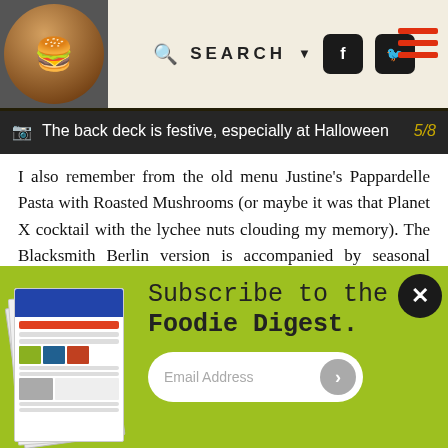SEARCH [social icons] [hamburger menu]
The back deck is festive, especially at Halloween  5/8
I also remember from the old menu Justine’s Pappardelle Pasta with Roasted Mushrooms (or maybe it was that Planet X cocktail with the lychee nuts clouding my memory). The Blacksmith Berlin version is accompanied by seasonal butternut squash. Veggieheads will also appreciate the Roasted Cauliflower Steak with quinoa, cous cous and local veggies in balsamic-laced butter. Slices of potatoes Anna add the finishing touch.
[Figure (infographic): Subscribe to the Foodie Digest newsletter signup box with stacked newsletter images, email address input field, and a close (X) button]